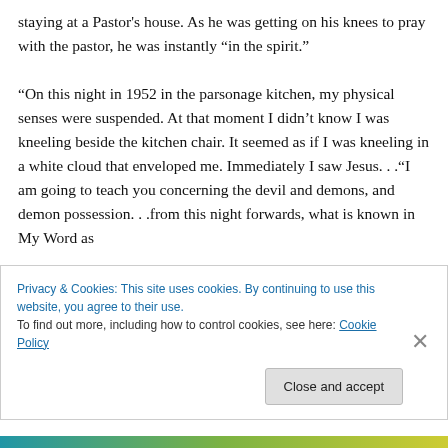staying at a Pastor's house. As he was getting on his knees to pray with the pastor, he was instantly “in the spirit.”

“On this night in 1952 in the parsonage kitchen, my physical senses were suspended. At that moment I didn’t know I was kneeling beside the kitchen chair. It seemed as if I was kneeling in a white cloud that enveloped me. Immediately I saw Jesus. . .“I am going to teach you concerning the devil and demons, and demon possession. . .from this night forwards, what is known in My Word as
Privacy & Cookies: This site uses cookies. By continuing to use this website, you agree to their use.
To find out more, including how to control cookies, see here: Cookie Policy
Close and accept